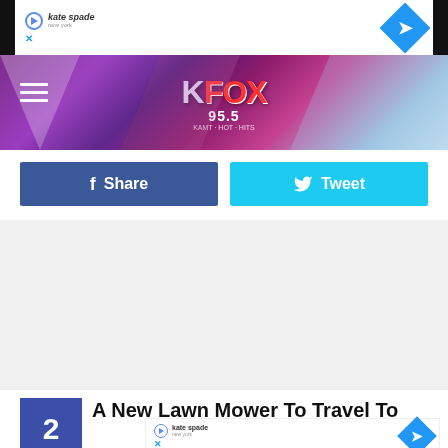[Figure (screenshot): Advertisement banner with Kate Spade branding on left and blue diamond navigation icon on right, white background]
[Figure (screenshot): KFOX 95.5 radio station header banner with purple/pink geometric background, white logo text, hamburger menu icon on left]
[Figure (screenshot): Facebook Share button (dark blue) and Twitter Tweet button (cyan) side by side]
[Figure (screenshot): Gray empty content area placeholder]
2
A New Lawn Mower To Travel To
[Figure (screenshot): Kate Spade advertisement strip at bottom]